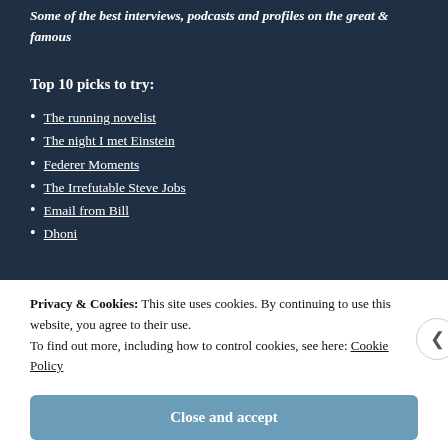Some of the best interviews, podcasts and profiles on the great & famous
Top 10 picks to try:
The running novelist
The night I met Einstein
Federer Moments
The Irrefutable Steve Jobs
Email from Bill
Dhoni
Privacy & Cookies: This site uses cookies. By continuing to use this website, you agree to their use. To find out more, including how to control cookies, see here: Cookie Policy
Close and accept